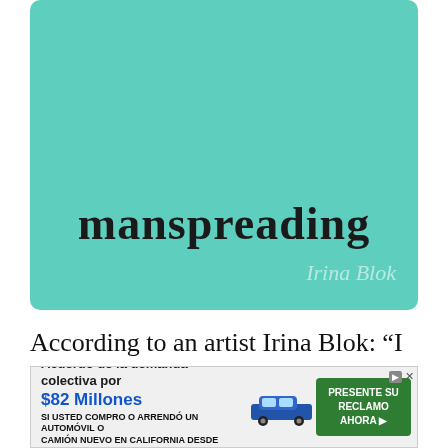[Figure (illustration): Teal/mint green rounded rectangle card showing the word 'manspreading' in large hand-drawn style font, with 'Irina Blok' watermark in lower right corner in faded white italic text]
According to an artist Irina Blok: “I am a designer based in San Francisco, and I love to doodle during my spare time. I hear many words that amuse me during the day, not sure why, but they are just too funny. Perhaps it’s a combination of being easily amused and having English as a second language. In any case, it’s a
[Figure (infographic): Advertisement banner: 'Acuerdo de la demanda colectiva por $82 Millones SI USTED COMPRO O ARRENDO UN AUTOMOVIL O CAMION NUEVO EN CALIFORNIA DESDE 2001 A 2003' with a car image and green 'PRESENTE SU RECLAMO AHORA' button]